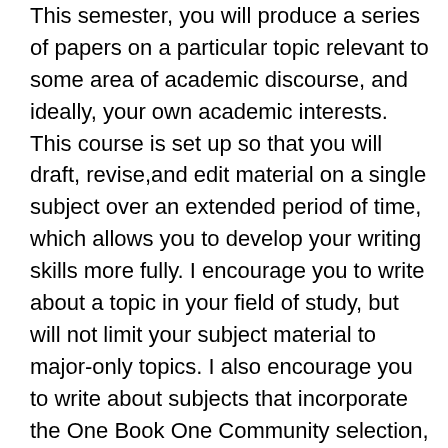This semester, you will produce a series of papers on a particular topic relevant to some area of academic discourse, and ideally, your own academic interests. This course is set up so that you will draft, revise,and edit material on a single subject over an extended period of time, which allows you to develop your writing skills more fully. I encourage you to write about a topic in your field of study, but will not limit your subject material to major-only topics. I also encourage you to write about subjects that incorporate the One Book One Community selection, The Working Poor, although you are not required to. In choosing a semester-long topic, you should abide by the following guidelines.
You should write about a subject that you want to know more about, not a subject that you feel like you know everything about.
You should be genuinely interested in the subject and